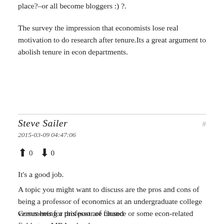place?–or all become bloggers :) ?.
The survey the impression that economists lose real motivation to do research after tenure.Its a great argument to abolish tenure in econ departments.
Steve Sailer
2015-03-09 04:47:06
↑ 0 ↓ 0
It's a good job.
A topic you might want to discuss are the pros and cons of being a professor of economics at an undergraduate college versus being a professor of finance or some econ-related field at an MBA school.
Comments for this post are closed